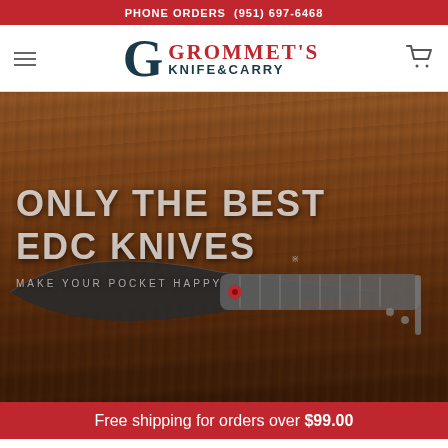PHONE ORDERS (951) 697-6468
[Figure (logo): Grommet's Knife & Carry logo with stylized G monogram in dark teal and red text]
[Figure (photo): Hero banner showing a folding EDC knife on a wooden background with text overlay: ONLY THE BEST EDC KNIVES / MAKE YOUR POCKET HAPPY]
Free shipping for orders over $99.00